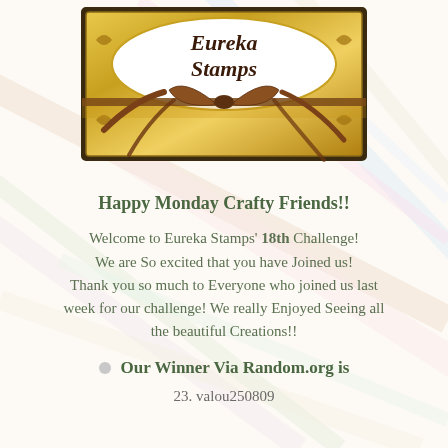[Figure (logo): Eureka Stamps logo in an ornate gold frame with a brown ribbon bow tied across the top. White oval label with 'Eureka Stamps' text in dark brown serif font.]
Happy Monday Crafty Friends!!
Welcome to Eureka Stamps' 18th Challenge! We are So excited that you have Joined us! Thank you so much to Everyone who joined us last week for our challenge! We really Enjoyed Seeing all the beautiful Creations!!
Our Winner Via Random.org is
23. valou250809